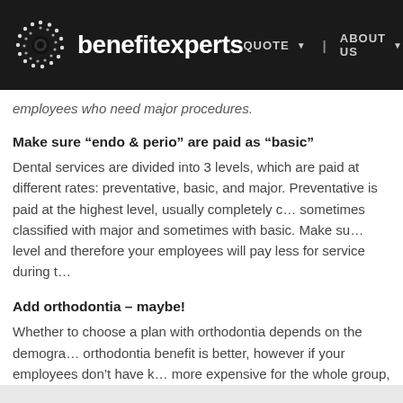benefitexperts | QUOTE | ABOUT US
employees who need major procedures.
Make sure “endo & perio” are paid as “basic”
Dental services are divided into 3 levels, which are paid at different rates: preventative, basic, and major. Preventative is paid at the highest level, usually completely covered. Endo & perio are sometimes classified with major and sometimes with basic. Make sure they are paid at the basic level and therefore your employees will pay less for service during their visits.
Add orthodontia – maybe!
Whether to choose a plan with orthodontia depends on the demographics of your group. If employees have kids, the orthodontia benefit is better, however if your employees don’t have kids, adding orthodontia makes it more expensive for the whole group, so make sure that it’s going to be used. For families with kids it can be massively valuable.